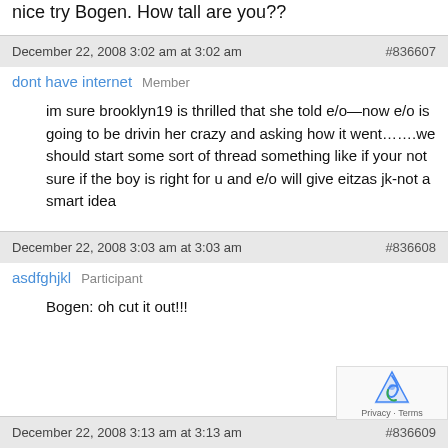nice try Bogen. How tall are you??
December 22, 2008 3:02 am at 3:02 am  #836607
dont have internet  Member
im sure brooklyn19 is thrilled that she told e/o—now e/o is going to be drivin her crazy and asking how it went…….we should start some sort of thread something like if your not sure if the boy is right for u and e/o will give eitzas jk-not a smart idea
December 22, 2008 3:03 am at 3:03 am  #836608
asdfghjkl  Participant
Bogen: oh cut it out!!!
December 22, 2008 3:13 am at 3:13 am  #836609